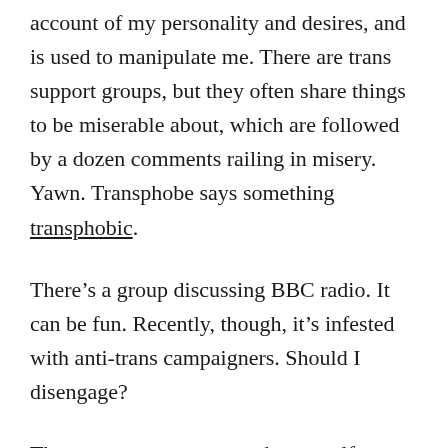account of my personality and desires, and is used to manipulate me. There are trans support groups, but they often share things to be miserable about, which are followed by a dozen comments railing in misery. Yawn. Transphobe says something transphobic.
There’s a group discussing BBC radio. It can be fun. Recently, though, it’s infested with anti-trans campaigners. Should I disengage?
There was a programme where a self-described TERF talked to trans people. A post on that